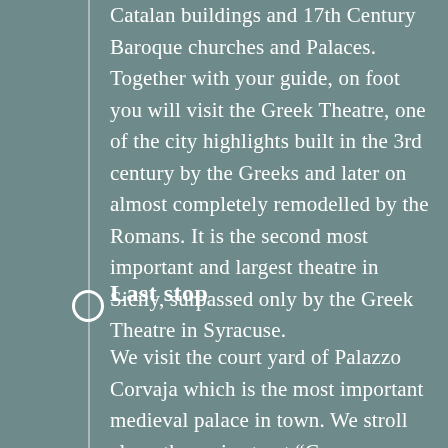Catalan buildings and 17th Century Baroque churches and Palaces. Together with your guide, on foot you will visit the Greek Theatre, one of the city highlights built in the 3rd century by the Greeks and later on almost completely remodelled by the Romans. It is the second most important and largest theatre in Sicily, surpassed only by the Greek Theatre in Syracuse.
Last stop
We visit the court yard of Palazzo Corvaja which is the most important medieval palace in town. We stroll along the main street “Corso Umberto”, arriving at the San Nicolò Cathedral square. We will also have time to wander its twisting alleys or stroll in